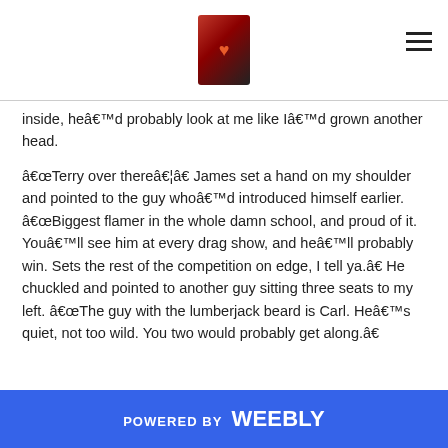[Logo: Molten Heart book cover image] [Hamburger menu icon]
inside, heâ€™d probably look at me like Iâ€™d grown another head.
â€Terry over thereâ€¦â€ James set a hand on my shoulder and pointed to the guy whoâ€™d introduced himself earlier. â€Biggest flamer in the whole damn school, and proud of it. Youâ€™ll see him at every drag show, and heâ€™ll probably win. Sets the rest of the competition on edge, I tell ya.â€ He chuckled and pointed to another guy sitting three seats to my left. â€The guy with the lumberjack beard is Carl. Heâ€™s quiet, not too wild. You two would probably get along.â€
POWERED BY weebly